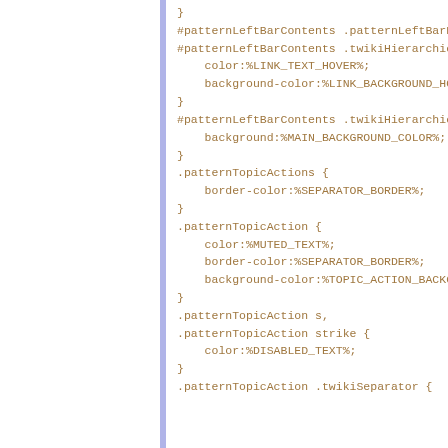}
#patternLeftBarContents .patternLeftBarPersonal a:hover
#patternLeftBarContents .twikiHierarchicalNavigation a:
    color:%LINK_TEXT_HOVER%;
    background-color:%LINK_BACKGROUND_HOVER%;
}
#patternLeftBarContents .twikiHierarchicalNavigation {
    background:%MAIN_BACKGROUND_COLOR%;
}
.patternTopicActions {
    border-color:%SEPARATOR_BORDER%;
}
.patternTopicAction {
    color:%MUTED_TEXT%;
    border-color:%SEPARATOR_BORDER%;
    background-color:%TOPIC_ACTION_BACKGROUND%;
}
.patternTopicAction s,
.patternTopicAction strike {
    color:%DISABLED_TEXT%;
}
.patternTopicAction .twikiSeparator {